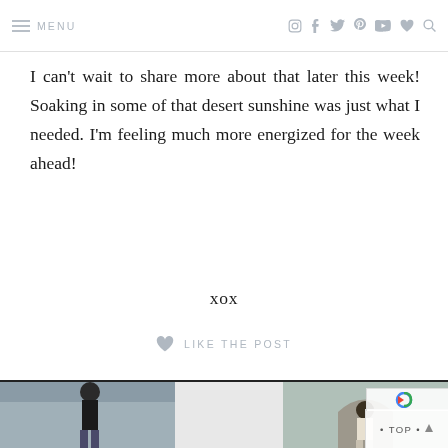≡ MENU  [instagram] [facebook] [twitter] [pinterest] [youtube] [heart] [search]
I can't wait to share more about that later this week! Soaking in some of that desert sunshine was just what I needed. I'm feeling much more energized for the week ahead!
xox
♥ LIKE THE POST
[Figure (photo): Two fashion photos at the bottom of the blog post. Left: a woman in a black top and denim with sunglasses, standing outdoors. Right: a woman in a light outfit standing near an arched building entrance.]